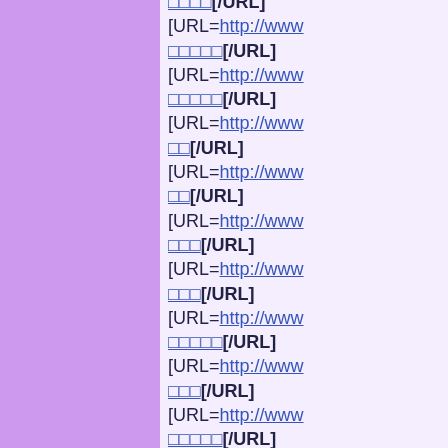□□□□[/URL]
[URL=http://www
□□□□□[/URL]
[URL=http://www
□□□□□[/URL]
[URL=http://www
□□[/URL]
[URL=http://www
□□[/URL]
[URL=http://www
□□□[/URL]
[URL=http://www
□□□[/URL]
[URL=http://www
□□□□□[/URL]
[URL=http://www
□□□[/URL]
[URL=http://www
□□□□□[/URL]
[URL=http://www
□□□[/URL]
[URL=http://www
□□□[/URL]